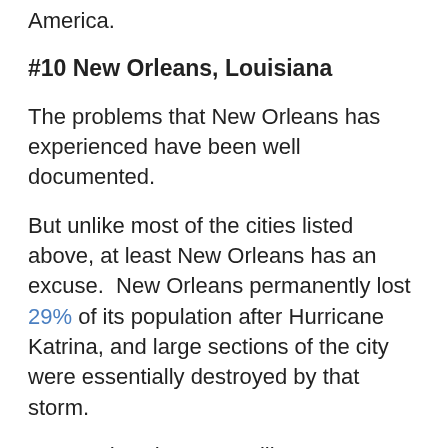America.
#10 New Orleans, Louisiana
The problems that New Orleans has experienced have been well documented.
But unlike most of the cities listed above, at least New Orleans has an excuse.  New Orleans permanently lost 29% of its population after Hurricane Katrina, and large sections of the city were essentially destroyed by that storm.
Even today, there are still some areas of New Orleans that look as if they have just been bombed.
It has been estimated that about 20 percent of